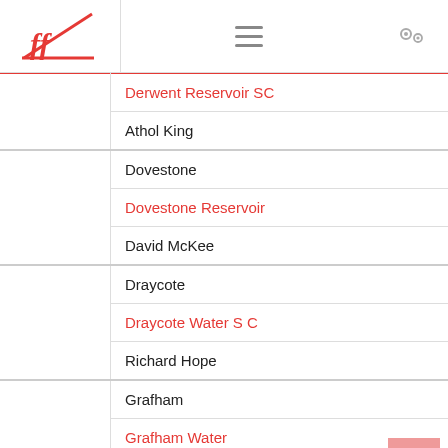FF logo / hamburger menu / settings
|  |  |
| --- | --- |
|  | Derwent Reservoir SC |
|  | Athol King |
|  | Dovestone |
|  | Dovestone Reservoir |
|  | David McKee |
|  | Draycote |
|  | Draycote Water S C |
|  | Richard Hope |
|  | Grafham |
|  | Grafham Water |
|  | Barry Wyatt |
|  | Hayling Island |